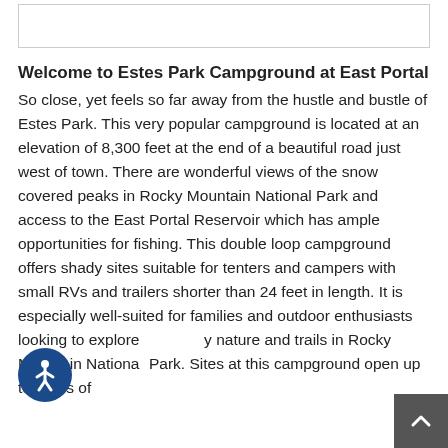[Figure (other): Empty white box with light border at top of page]
Welcome to Estes Park Campground at East Portal
So close, yet feels so far away from the hustle and bustle of Estes Park. This very popular campground is located at an elevation of 8,300 feet at the end of a beautiful road just west of town. There are wonderful views of the snow covered peaks in Rocky Mountain National Park and access to the East Portal Reservoir which has ample opportunities for fishing. This double loop campground offers shady sites suitable for tenters and campers with small RVs and trailers shorter than 24 feet in length. It is especially well-suited for families and outdoor enthusiasts looking to explore nature and trails in Rocky Mountain National Park. Sites at this campground open up to views of